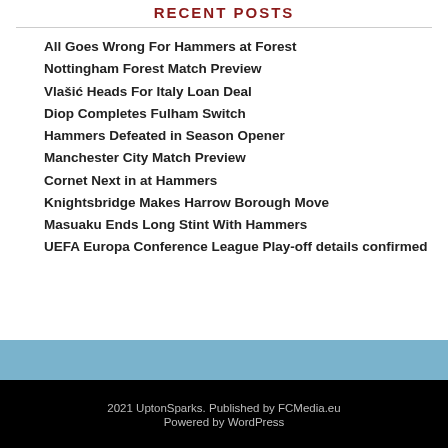RECENT POSTS
All Goes Wrong For Hammers at Forest
Nottingham Forest Match Preview
Vlašić Heads For Italy Loan Deal
Diop Completes Fulham Switch
Hammers Defeated in Season Opener
Manchester City Match Preview
Cornet Next in at Hammers
Knightsbridge Makes Harrow Borough Move
Masuaku Ends Long Stint With Hammers
UEFA Europa Conference League Play-off details confirmed
2021 UptonSparks. Published by FCMedia.eu
Powered by WordPress